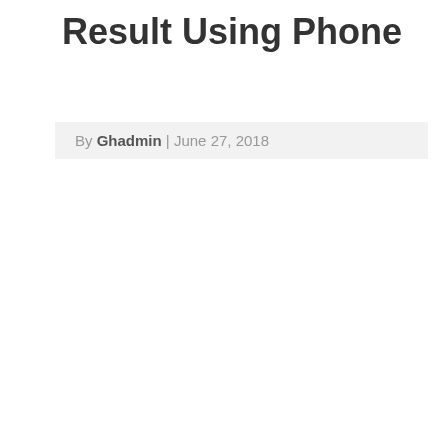Result Using Phone
By Ghadmin | June 27, 2018